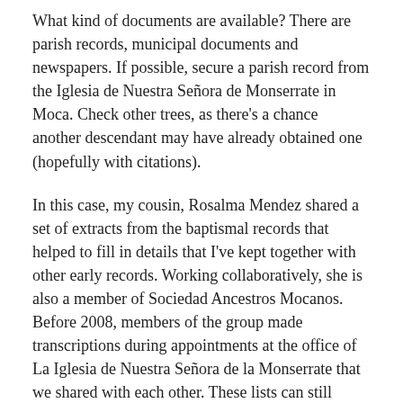What kind of documents are available? There are parish records, municipal documents and newspapers. If possible, secure a parish record from the Iglesia de Nuestra Señora de Monserrate in Moca. Check other trees, as there's a chance another descendant may have already obtained one (hopefully with citations).
In this case, my cousin, Rosalma Mendez shared a set of extracts from the baptismal records that helped to fill in details that I've kept together with other early records. Working collaboratively, she is also a member of Sociedad Ancestros Mocanos. Before 2008, members of the group made transcriptions during appointments at the office of La Iglesia de Nuestra Señora de la Monserrate that we shared with each other. These lists can still contain surprises years later.